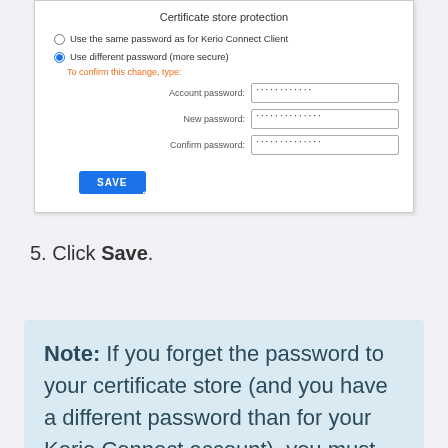[Figure (screenshot): Screenshot of a Certificate store protection dialog showing radio buttons for password options, input fields for Account password, New password, and Confirm password (all filled with dots), and a blue SAVE button with a cursor hovering over it.]
5. Click Save.
Note: If you forget the password to your certificate store (and you have a different password than for your Kerio Connect account), you must initialize the store